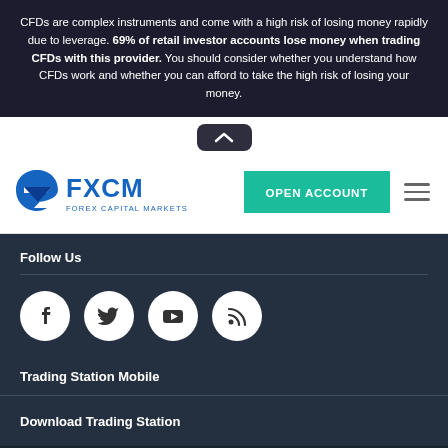CFDs are complex instruments and come with a high risk of losing money rapidly due to leverage. 69% of retail investor accounts lose money when trading CFDs with this provider. You should consider whether you understand how CFDs work and whether you can afford to take the high risk of losing your money.
[Figure (logo): FXCM Forex Capital Markets logo in blue]
[Figure (other): Open Account teal button and hamburger menu icon]
Follow Us
[Figure (other): Social media icons: Facebook, Twitter, YouTube, RSS feed]
Trading Station Mobile
Download Trading Station